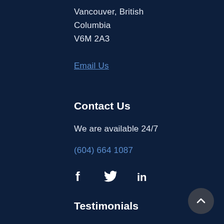Vancouver, British Columbia
​V6M 2A3
Email Us
Contact Us
We are available 24/7
(604) 664 1087
[Figure (infographic): Social media icons: Facebook (f), Twitter (bird), LinkedIn (in)]
Testimonials